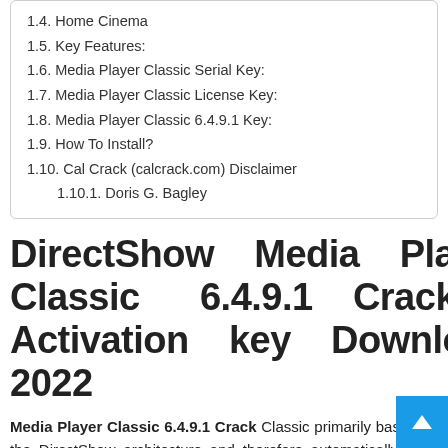1.4. Home Cinema
1.5. Key Features:
1.6. Media Player Classic Serial Key:
1.7. Media Player Classic License Key:
1.8. Media Player Classic 6.4.9.1 Key:
1.9. How To Install?
1.10. Cal Crack (calcrack.com) Disclaimer
1.10.1.  Doris G. Bagley
DirectShow Media Player Classic 6.4.9.1 Crack + Activation key Download 2022
Media Player Classic 6.4.9.1 Crack Classic primarily based on the DirectShow architecture and therefore automatically uses installed